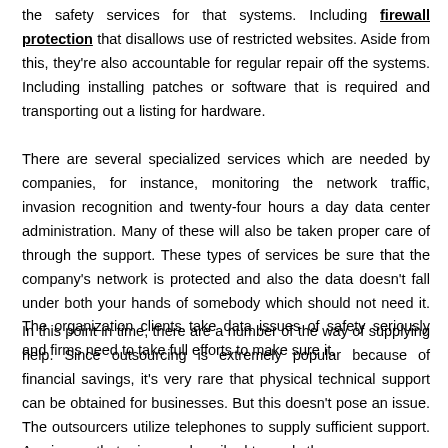the safety services for that systems. Including firewall protection that disallows use of restricted websites. Aside from this, they're also accountable for regular repair off the systems. Including installing patches or software that is required and transporting out a listing for hardware.
There are several specialized services which are needed by companies, for instance, monitoring the network traffic, invasion recognition and twenty-four hours a day data center administration. Many of these will also be taken proper care of through the support. These types of services be sure that the company's network is protected and also the data doesn't fall under both your hands of somebody which should not need it. The organization clients take data issues of safety seriously and firms need to take full efforts to make sure it.
In this point in time, there are a number of the way of supplying help. Since outsourcing is extremely popular because of financial savings, it's very rare that physical technical support can be obtained for businesses. But this doesn't pose an issue. The outsourcers utilize telephones to supply sufficient support. Any issues that arise are described towards the